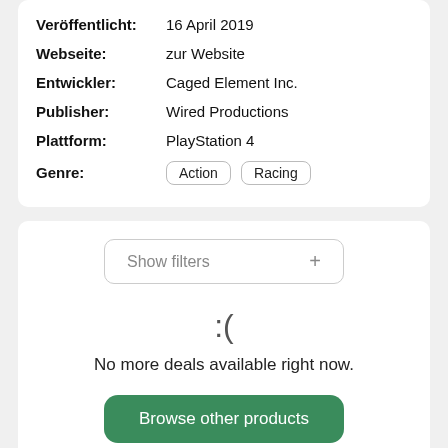| Veröffentlicht: | 16 April 2019 |
| Webseite: | zur Website |
| Entwickler: | Caged Element Inc. |
| Publisher: | Wired Productions |
| Plattform: | PlayStation 4 |
| Genre: | Action  Racing |
[Figure (screenshot): Show filters button with a + icon]
:(
No more deals available right now.
Browse other products